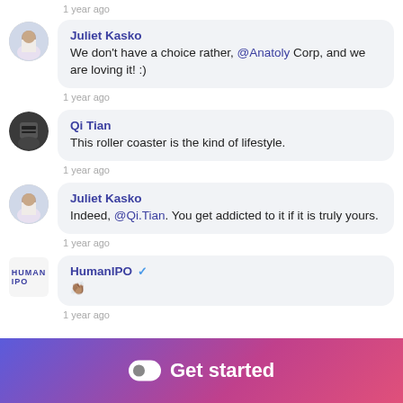1 year ago
Juliet Kasko: We don't have a choice rather, @Anatoly Corp, and we are loving it! :)
1 year ago
Qi Tian: This roller coaster is the kind of lifestyle.
1 year ago
Juliet Kasko: Indeed, @Qi.Tian. You get addicted to it if it is truly yours.
1 year ago
HumanIPO ✓: 👏🏽
1 year ago
[Figure (other): Get started button with toggle icon on gradient purple-pink footer bar]